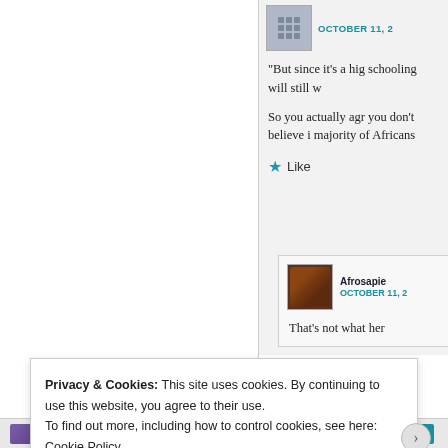OCTOBER 11,
“But since it’s a hig schooling will still v
So you actually agr you don’t believe i majority of Africans
★ Like
Afrosapie
OCTOBER 11,
That’s not what her
Privacy & Cookies: This site uses cookies. By continuing to use this website, you agree to their use.
To find out more, including how to control cookies, see here: Cookie Policy
Close and accept